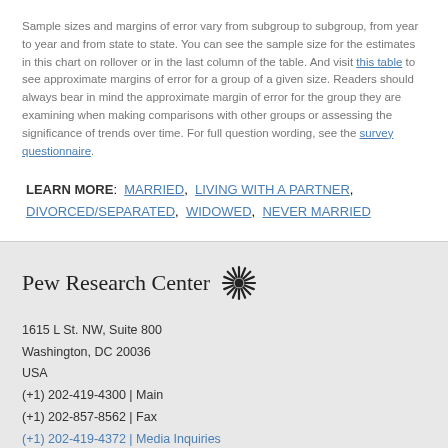Sample sizes and margins of error vary from subgroup to subgroup, from year to year and from state to state. You can see the sample size for the estimates in this chart on rollover or in the last column of the table. And visit this table to see approximate margins of error for a group of a given size. Readers should always bear in mind the approximate margin of error for the group they are examining when making comparisons with other groups or assessing the significance of trends over time. For full question wording, see the survey questionnaire.
LEARN MORE: MARRIED, LIVING WITH A PARTNER, DIVORCED/SEPARATED, WIDOWED, NEVER MARRIED
Pew Research Center
1615 L St. NW, Suite 800
Washington, DC 20036
USA
(+1) 202-419-4300 | Main
(+1) 202-857-8562 | Fax
(+1) 202-419-4372 | Media Inquiries